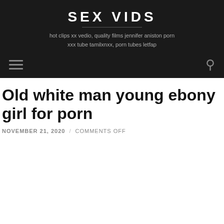SEX VIDS
hot clips xx vedio, quality films jennifer aniston porn xxx tube tamilxnxx, porn tubes letfap
Old white man young ebony girl for porn
NOVEMBER 21, 2020 / COMMENTS OFF